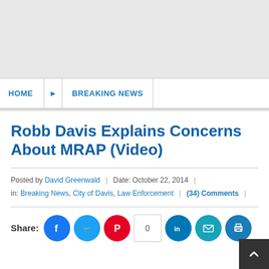[Figure (other): Gray advertisement banner area at top of page]
HOME > BREAKING NEWS
Robb Davis Explains Concerns About MRAP (Video)
Posted by David Greenwald | Date: October 22, 2014 | in: Breaking News, City of Davis, Law Enforcement | (34) Comments |
Share: